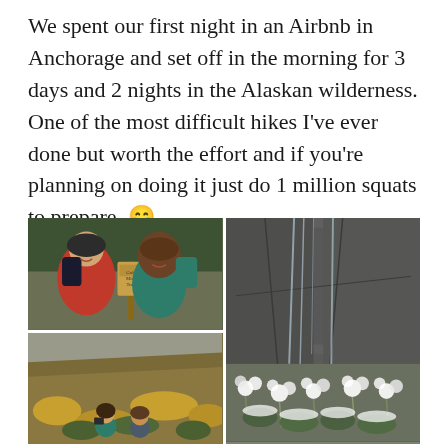We spent our first night in an Airbnb in Anchorage and set off in the morning for 3 days and 2 nights in the Alaskan wilderness. One of the most difficult hikes I've ever done but worth the effort and if you're planning on doing it just do 1 million squats to prepare. 😄
[Figure (photo): Two hikers with backpacks smiling at a trail sign in a forested area]
[Figure (photo): Hikers on an open Alaskan tundra hillside with golden grasses]
[Figure (photo): Close-up of frosted white tundra plants against a dark rocky cliff face]